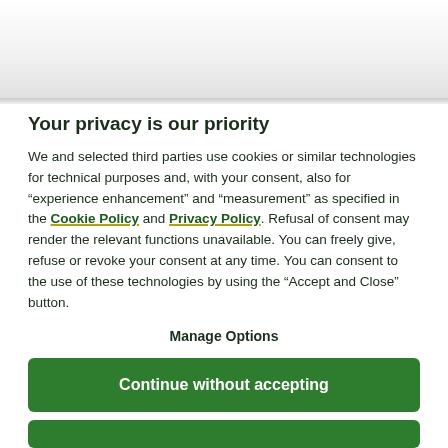Your privacy is our priority
We and selected third parties use cookies or similar technologies for technical purposes and, with your consent, also for "experience enhancement" and "measurement" as specified in the Cookie Policy and Privacy Policy. Refusal of consent may render the relevant functions unavailable. You can freely give, refuse or revoke your consent at any time. You can consent to the use of these technologies by using the "Accept and Close" button.
Manage Options
Continue without accepting